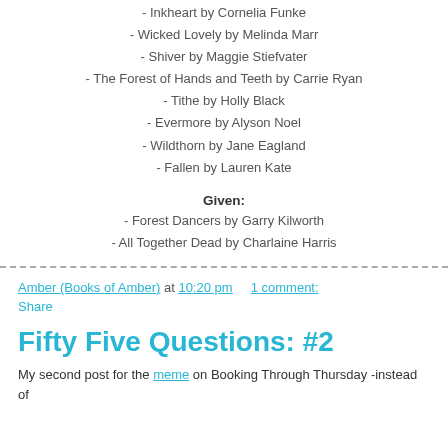- Inkheart by Cornelia Funke
- Wicked Lovely by Melinda Marr
- Shiver by Maggie Stiefvater
- The Forest of Hands and Teeth by Carrie Ryan
- Tithe by Holly Black
- Evermore by Alyson Noel
- Wildthorn by Jane Eagland
- Fallen by Lauren Kate
Given:
- Forest Dancers by Garry Kilworth
- All Together Dead by Charlaine Harris
Amber (Books of Amber) at 10:20 pm    1 comment:
Share
Fifty Five Questions: #2
My second post for the meme on Booking Through Thursday -instead of